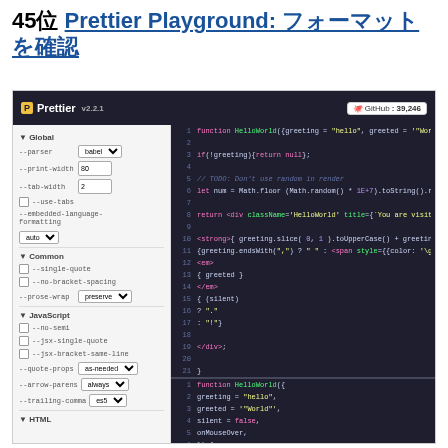45位 Prettier Playground: フォーマットを確認
[Figure (screenshot): Screenshot of Prettier Playground web interface showing a dark-themed code editor with options panel on the left (Global, Common, JavaScript, HTML sections) and code editor on the right showing a HelloWorld React component in two versions (unformatted and formatted). The header shows 'Prettier v2.2.1' and a GitHub button showing 39,246 stars.]